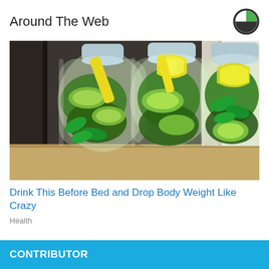Around The Web
[Figure (photo): Three glass bottles filled with infused water containing cucumber slices, lemon wedges, and mint leaves, placed on a kitchen counter]
Drink This Before Bed and Drop Body Weight Like Crazy
Health
CONTRIBUTOR